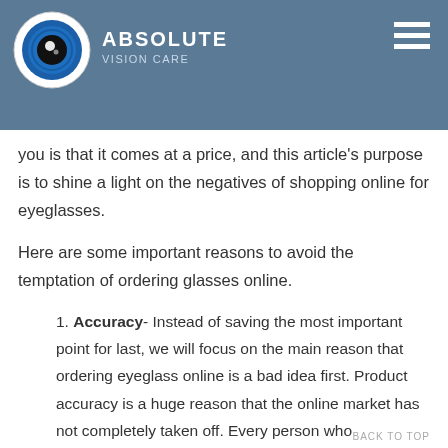ABSOLUTE VISION CARE
Eyeglasses, unfortunately, are no different. Many online eyeglass websites popping up in recent years, offering people that same convenience. But what they don't tell you is that it comes at a price, and this article's purpose is to shine a light on the negatives of shopping online for eyeglasses.
Here are some important reasons to avoid the temptation of ordering glasses online.
1. Accuracy- Instead of saving the most important point for last, we will focus on the main reason that ordering eyeglass online is a bad idea first. Product accuracy is a huge reason that the online market has not completely taken off. Every person who